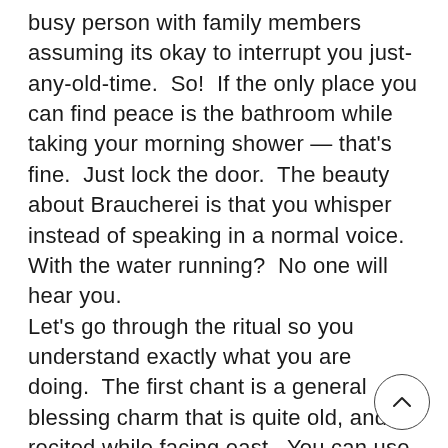busy person with family members assuming its okay to interrupt you just-any-old-time.  So!  If the only place you can find peace is the bathroom while taking your morning shower — that's fine.  Just lock the door.  The beauty about Braucherei is that you whisper instead of speaking in a normal voice.  With the water running?  No one will hear you.
Let's go through the ritual so you understand exactly what you are doing.  The first chant is a general blessing charm that is quite old, and recited while facing east.  You can use hand motions (or not) while intoning the charm.  Speak slowly, with feeling and with a sense of grace.  You are doing a spiritual thing — it is okay to open up